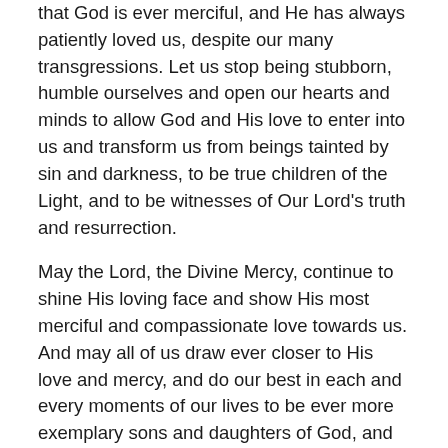that God is ever merciful, and He has always patiently loved us, despite our many transgressions. Let us stop being stubborn, humble ourselves and open our hearts and minds to allow God and His love to enter into us and transform us from beings tainted by sin and darkness, to be true children of the Light, and to be witnesses of Our Lord's truth and resurrection.
May the Lord, the Divine Mercy, continue to shine His loving face and show His most merciful and compassionate love towards us. And may all of us draw ever closer to His love and mercy, and do our best in each and every moments of our lives to be ever more exemplary sons and daughters of God, and as genuine and faithful Christians, beloved ones of the Lord, at all times. For the sake of His sorrowful Passion, have mercy on us and on the whole world! Amen.